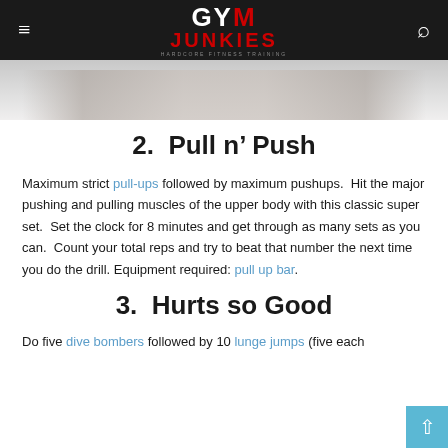GYM JUNKIES — HARDCORE FITNESS TRAINING
[Figure (photo): Partial photo of a person doing a plank or push-up exercise on a mat, cropped to show mostly hands and floor.]
2.  Pull n’ Push
Maximum strict pull-ups followed by maximum pushups.  Hit the major pushing and pulling muscles of the upper body with this classic super set.  Set the clock for 8 minutes and get through as many sets as you can.  Count your total reps and try to beat that number the next time you do the drill. Equipment required: pull up bar.
3.  Hurts so Good
Do five dive bombers followed by 10 lunge jumps (five each side). Go ahead...